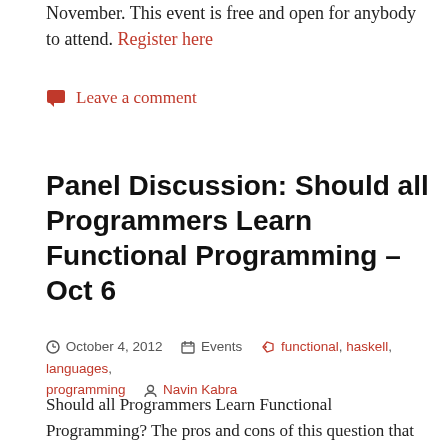November. This event is free and open for anybody to attend. Register here
💬 Leave a comment
Panel Discussion: Should all Programmers Learn Functional Programming – Oct 6
🕐 October 4, 2012   📁 Events   🏷 functional, haskell, languages, programming   👤 Navin Kabra
Should all Programmers Learn Functional Programming? The pros and cons of this question that will be tackled in a panel discussion this Saturday. This panel discussion is a part of the Turing Awards lecture series that happens at Persistent's Dewang Mehta Auditorium at 2pm on the first